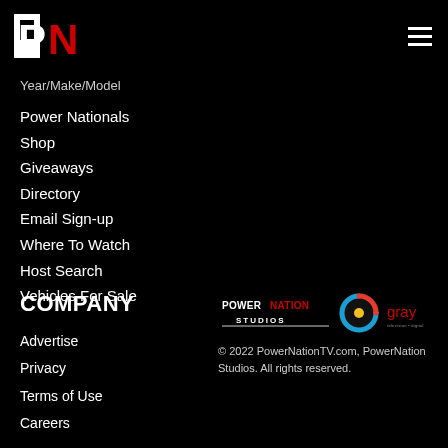PN (PowerNation logo)
Year/Make/Model
Power Nationals
Shop
Giveaways
Directory
Email Sign-up
Where To Watch
Host Search
Vehicles For Sale
COMPANY
Advertise
Privacy
Terms of Use
Careers
[Figure (logo): PowerNation Studios logo and Gray logo]
© 2022 PowerNationTV.com, PowerNation Studios. All rights reserved.